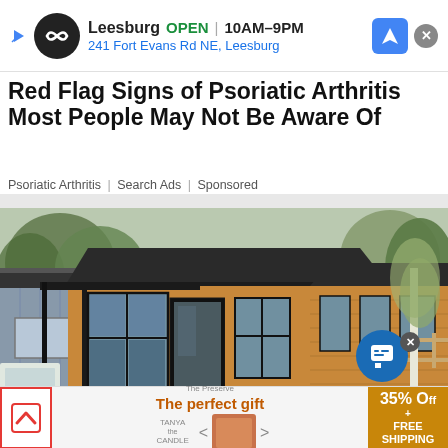[Figure (screenshot): Top banner advertisement for Leesburg business showing logo circle, OPEN status, hours 10AM-9PM, address 241 Fort Evans Rd NE Leesburg, navigation icon, and close button]
Red Flag Signs of Psoriatic Arthritis Most People May Not Be Aware Of
Psoriatic Arthritis | Search Ads | Sponsored
[Figure (photo): Exterior photo of a modern wooden clad park home or mobile home with black trim, large windows, covered porch with railings, brick base, garden with yellow flowers, paved patio area, trees and another house visible in background]
[Figure (screenshot): Bottom advertisement strip showing: left red bordered box with up chevron arrow, center area with brand logo The Preserve and text The perfect gift with product carousel showing tan/brown gift items with navigation arrows, right gold/brown box showing 35% Off + Free Shipping. Amazon chat button overlay with X close button.]